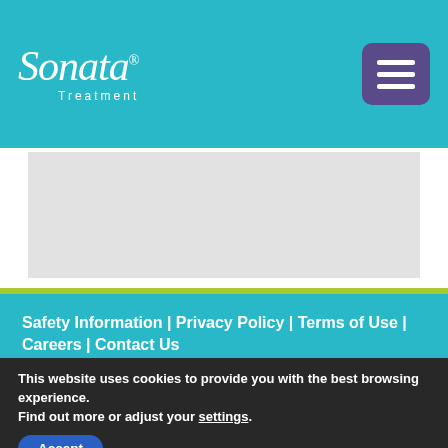Sonata Treatment
[Figure (other): Gray placeholder content area]
Safety Information | Privacy Policy | Terms of Use | Careers | Contact Us
Gynesonics, Inc. | 600 Chesapeake Drive | Redwood City, CA 94063
This website uses cookies to provide you with the best browsing experience. Find out more or adjust your settings.
Accept